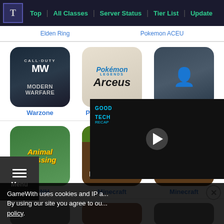Top | All Classes | Server Status | Tier List | Update
Elden Ring | Pokemon ACEU
[Figure (screenshot): Call of Duty Modern Warfare game icon with soldier holding rifle on dark background]
Warzone
[Figure (screenshot): Pokemon Legends Arceus logo on light background]
Pokemon Arceus
[Figure (screenshot): FPS Aim Guide icon showing soldier in grey tones]
FPS Aim Guide
[Figure (screenshot): Animal Crossing New Horizons game icon with golden orange logo on green background]
ACNH
[Figure (screenshot): Minecraft game icon with brown and green blocks]
Minecraft
[Figure (screenshot): Minecraft game icon with brown and green blocks (second)]
Minecraft
[Figure (screenshot): Partially visible game thumbnails at bottom of screen]
[Figure (screenshot): Video overlay showing a camera product with GOOD TECH recap logo and play button]
GameWith uses cookies and IP a...
By using our site you agree to ou...
policy.